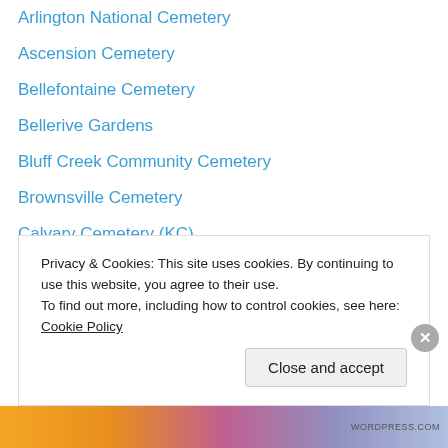Arlington National Cemetery
Ascension Cemetery
Bellefontaine Cemetery
Bellerive Gardens
Bluff Creek Community Cemetery
Brownsville Cemetery
Calvary Cemetery (KC)
Calvary Cemetery (MO)
Calvary Cemetery (NH)
Calvary Cemetery (TN)
Campbell's Cemetery
Cavendish Cemetery
Cedar Hill Cemetery
Cedar Hill Cemetery (NY)
Privacy & Cookies: This site uses cookies. By continuing to use this website, you agree to their use. To find out more, including how to control cookies, see here: Cookie Policy
Close and accept